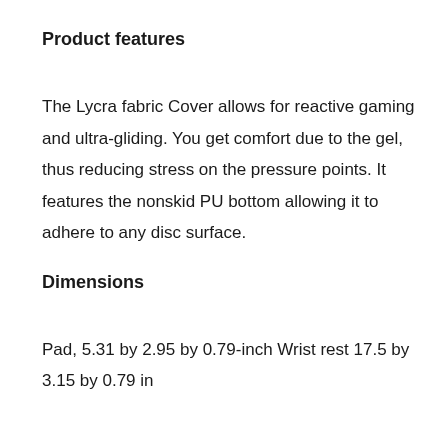Product features
The Lycra fabric Cover allows for reactive gaming and ultra-gliding. You get comfort due to the gel, thus reducing stress on the pressure points. It features the nonskid PU bottom allowing it to adhere to any disc surface.
Dimensions
Pad, 5.31 by 2.95 by 0.79-inch Wrist rest 17.5 by 3.15 by 0.79 in